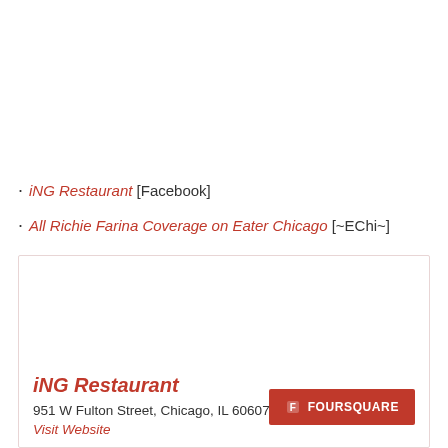iNG Restaurant [Facebook]
All Richie Farina Coverage on Eater Chicago [~EChi~]
[Figure (screenshot): Embedded card box showing iNG Restaurant info with Foursquare button]
iNG Restaurant
951 W Fulton Street, Chicago, IL 60607
Visit Website